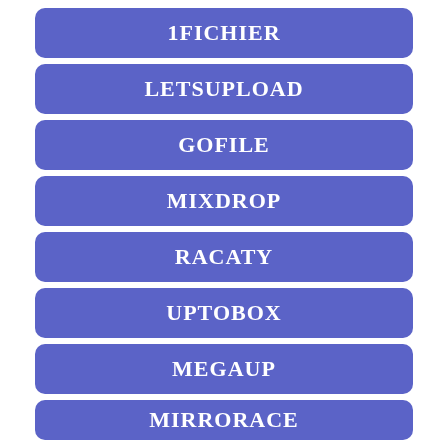1FICHIER
LETSUPLOAD
GOFILE
MIXDROP
RACATY
UPTOBOX
MEGAUP
MIRRORACE